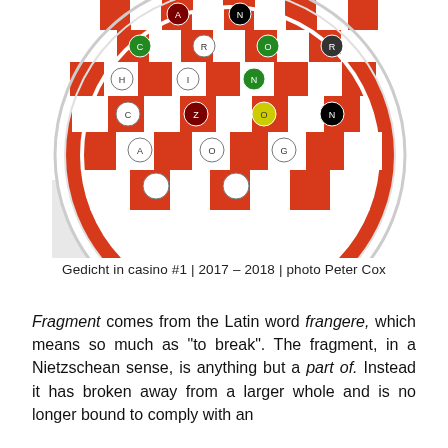[Figure (photo): Circular roulette-wheel-like artwork with red and white checkerboard pattern and colored dots/circles with letters, partially cropped at top]
Gedicht in casino #1 | 2017 – 2018 | photo Peter Cox
Fragment comes from the Latin word frangere, which means so much as “to break”. The fragment, in a Nietzschean sense, is anything but a part of. Instead it has broken away from a larger whole and is no longer bound to comply with an